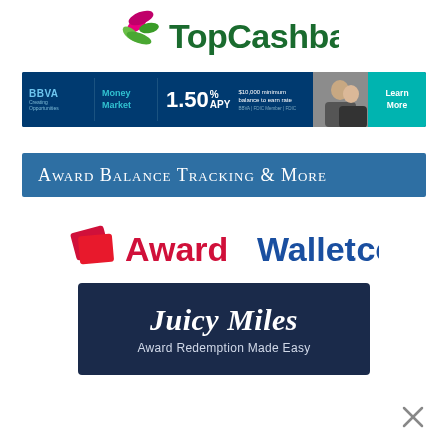[Figure (logo): TopCashback logo with green/pink flower icon and dark green text]
[Figure (infographic): BBVA Money Market banner ad: 1.50% APY, $10,000 minimum balance to earn rate, Learn More button]
[Figure (infographic): Award Balance Tracking & More blue header bar]
[Figure (logo): AwardWallet.com logo with red wallet icon, red Award and blue Wallet text]
[Figure (infographic): Juicy Miles dark navy banner: Award Redemption Made Easy]
[Figure (other): Close X button in bottom right corner]